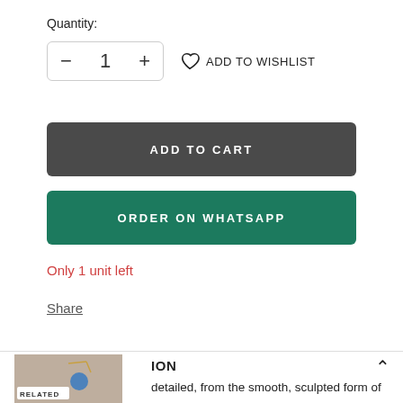Quantity:
— 1 +   ADD TO WISHLIST
ADD TO CART
ORDER ON WHATSAPP
Only 1 unit left
Share
ION
detailed, from the smooth, sculpted form of the to the intricately textured surface, our oryx wall
[Figure (photo): Small thumbnail image of a decorative wall piece with a blue ornament, labeled RELATED]